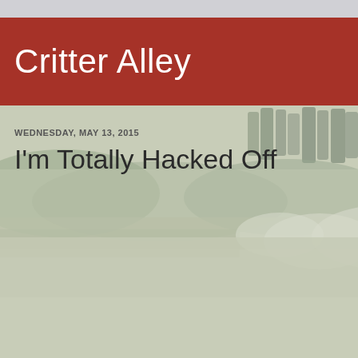Critter Alley
WEDNESDAY, MAY 13, 2015
I'm Totally Hacked Off